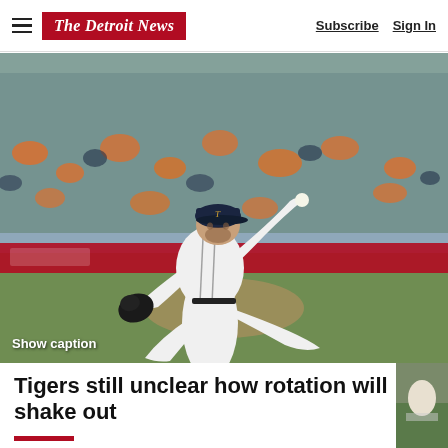The Detroit News — Subscribe  Sign In
[Figure (photo): Detroit Tigers pitcher in white uniform and dark cap in mid-throw motion on the pitcher's mound, crowd visible in background wearing orange and navy.]
Show caption
Tigers still unclear how rotation will shake out